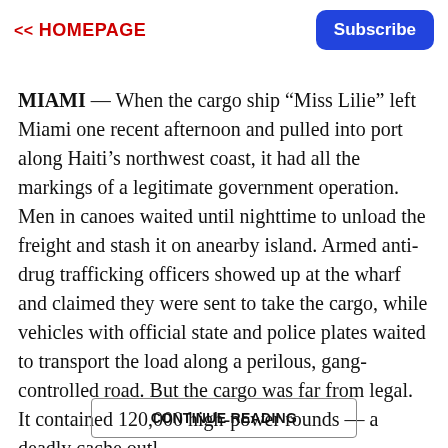<< HOMEPAGE
Subscribe
MIAMI — When the cargo ship “Miss Lilie” left Miami one recent afternoon and pulled into port along Haiti’s northwest coast, it had all the markings of a legitimate government operation. Men in canoes waited until nighttime to unload the freight and stash it on anearby island. Armed anti-drug trafficking officers showed up at the wharf and claimed they were sent to take the cargo, while vehicles with official state and police plates waited to transport the load along a perilous, gang-controlled road. But the cargo was far from legal. It contained 120,000 high-power rounds — a deadly cache outl...
CONTINUE READING